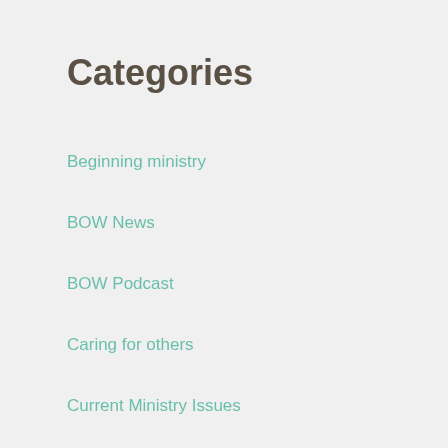Categories
Beginning ministry
BOW News
BOW Podcast
Caring for others
Current Ministry Issues
Discipleship
Leadership
Leadership Development
Living in the American Culture
Principles of Ministry